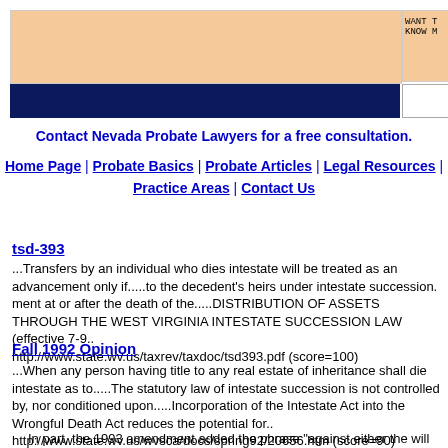[Figure (other): Website header banner with orange background area and dark blue navigation bar below. Right side shows partial text 'WANT T' and 'KNOW M' with a white input box below.]
Contact Nevada Probate Lawyers for a free consultation.
Home Page | Probate Basics | Probate Articles | Legal Resources | Practice Areas | Contact Us
tsd-393
...Transfers by an individual who dies intestate will be treated as an advancement only if.....to the decedent's heirs under intestate succession. ment at or after the death of the.....DISTRIBUTION OF ASSETS THROUGH THE WEST VIRGINIA INTESTATE SUCCESSION LAW (effective 7-9..
http://www.state.wv.us/taxrev/taxdoc/tsd393.pdf (score=100)
Fall 1992 Opinion
...When any person having title to any real estate of inheritance shall die intestate as to.....The statutory law of intestate succession is not controlled by, nor conditioned upon.....Incorporation of the Intestate Act into the Wrongful Death Act reduces the potential for..
http://www.state.wv.us/wvsca/docs/spring92/20656.htm (score=90)
In part, the 1993 amendment added the phrase "against either the will or